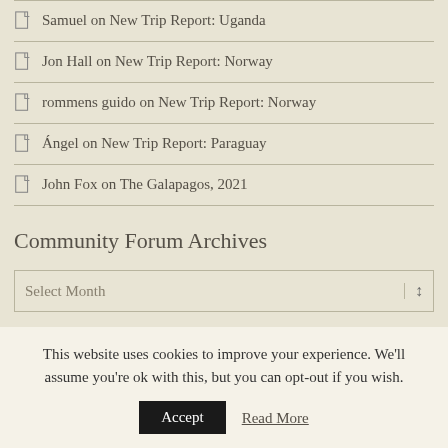Samuel on New Trip Report: Uganda
Jon Hall on New Trip Report: Norway
rommens guido on New Trip Report: Norway
Ángel on New Trip Report: Paraguay
John Fox on The Galapagos, 2021
Community Forum Archives
Select Month
Categories
This website uses cookies to improve your experience. We'll assume you're ok with this, but you can opt-out if you wish.